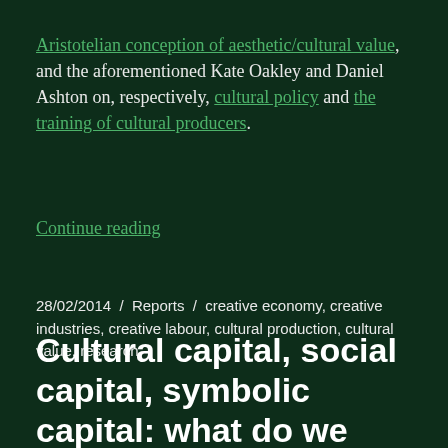Aristotelian conception of aesthetic/cultural value, and the aforementioned Kate Oakley and Daniel Ashton on, respectively, cultural policy and the training of cultural producers.
Continue reading
28/02/2014  /  Reports  /  creative economy, creative industries, creative labour, cultural production, cultural value, research
Cultural capital, social capital, symbolic capital: what do we gain from an economic metaphor?